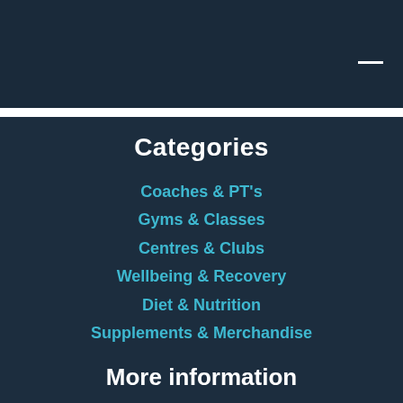[Figure (screenshot): Dark navy header bar with hamburger menu icon (white horizontal lines) in top right corner]
Categories
Coaches & PT's
Gyms & Classes
Centres & Clubs
Wellbeing & Recovery
Diet & Nutrition
Supplements & Merchandise
More information
About Us
Contact us / Listing